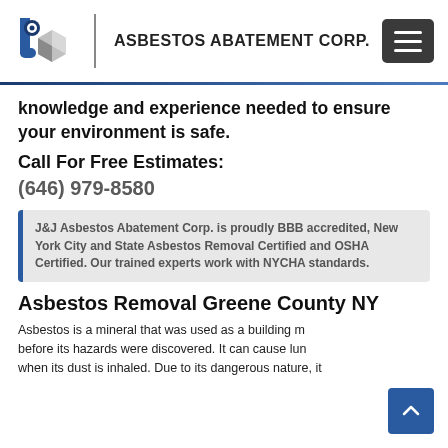J&J ASBESTOS ABATEMENT CORP.
knowledge and experience needed to ensure your environment is safe.
Call For Free Estimates:
(646) 979-8580
J&J Asbestos Abatement Corp. is proudly BBB accredited, New York City and State Asbestos Removal Certified and OSHA Certified. Our trained experts work with NYCHA standards.
Asbestos Removal Greene County NY
Asbestos is a mineral that was used as a building material before its hazards were discovered. It can cause lung disease when its dust is inhaled. Due to its dangerous nature, it